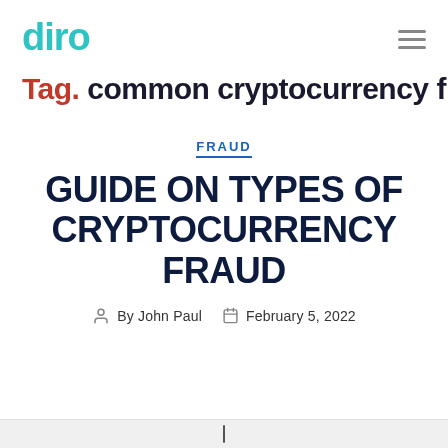diro
Tag. common cryptocurrency fraud
FRAUD
GUIDE ON TYPES OF CRYPTOCURRENCY FRAUD
By John Paul  February 5, 2022